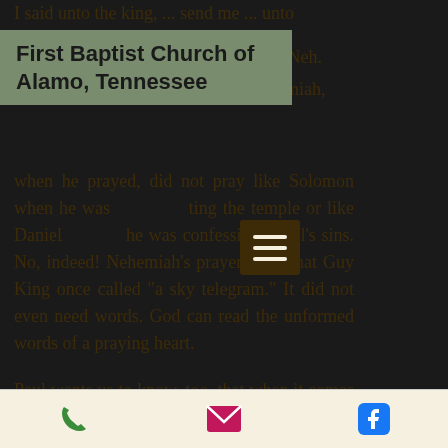I said unto the king, ... send me ... unto
First Baptist Church of Alamo, Tennessee
" (Neh. ... hemiah, when he prayed, did not pray like Solomon when he was [building] the temple or like Daniel [when] he was confessing Israel’s sins. No, indeed! Nehemiah’s prayer was what Guy King once called “a sky telegram.” It did not even need words. God can read the unformed words of a praying heart.
Paul wants us to know, too, that when it comes to prayer, we not only have access at all times but also must have acceptance in all things. It’s no use for us to pray, “Not my will but thine be
[phone] [email] [facebook]